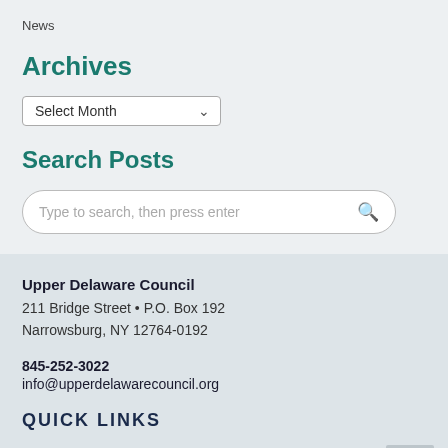News
Archives
Select Month
Search Posts
Type to search, then press enter
Upper Delaware Council
211 Bridge Street • P.O. Box 192
Narrowsburg, NY 12764-0192
845-252-3022
info@upperdelawarecouncil.org
QUICK LINKS
Home
Committee Meetings